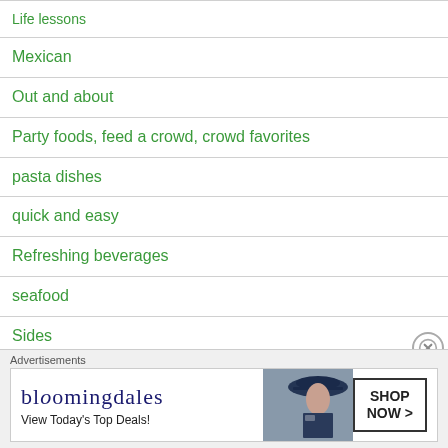Life lessons
Mexican
Out and about
Party foods, feed a crowd, crowd favorites
pasta dishes
quick and easy
Refreshing beverages
seafood
Sides
slow cooker
Soups
[Figure (screenshot): Bloomingdales advertisement banner: 'View Today's Top Deals!' with SHOP NOW button]